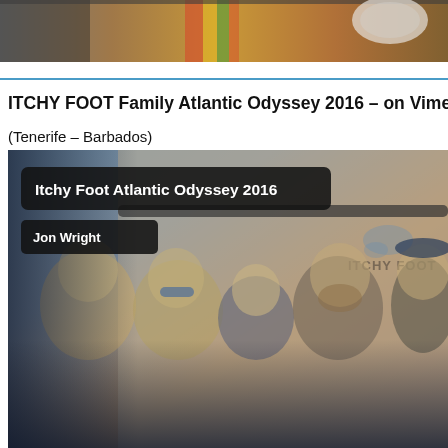[Figure (photo): Cropped top portion of a photo showing colorful fabric and boat/interior elements]
ITCHY FOOT Family Atlantic Odyssey 2016 – on Vimeo
(Tenerife – Barbados)
[Figure (screenshot): Vimeo video thumbnail for 'Itchy Foot Atlantic Odyssey 2016' by Jon Wright, showing a family group photo in front of a wall with 'ITCHY FOOT' text. Dark overlay with title badge and author badge overlaid on top-left of the image.]